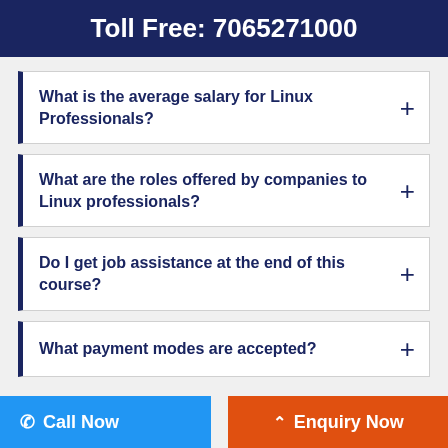Toll Free: 7065271000
What is the average salary for Linux Professionals?
What are the roles offered by companies to Linux professionals?
Do I get job assistance at the end of this course?
What payment modes are accepted?
Call Now
Enquiry Now